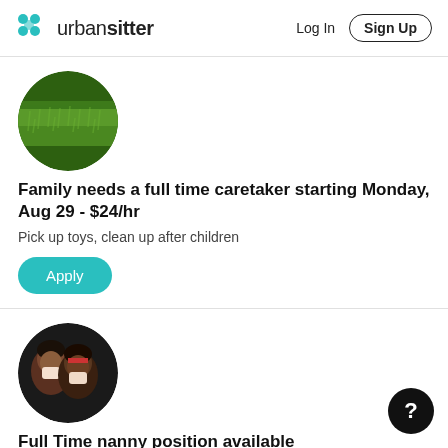urbansitter  Log In  Sign Up
[Figure (photo): Circular profile photo showing green grass, used as a family/listing avatar]
Family needs a full time caretaker starting Monday, Aug 29 - $24/hr
Pick up toys, clean up after children
Apply
[Figure (photo): Circular profile photo showing two people wearing masks, used as nanny listing avatar]
Full Time nanny position available